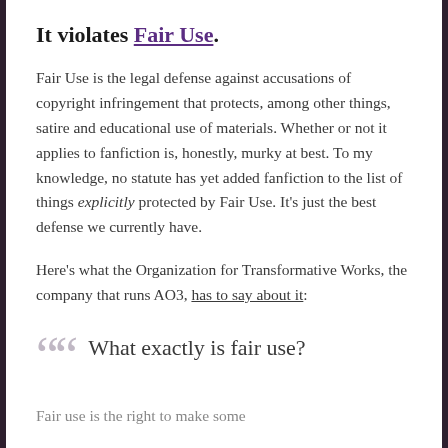It violates Fair Use.
Fair Use is the legal defense against accusations of copyright infringement that protects, among other things, satire and educational use of materials. Whether or not it applies to fanfiction is, honestly, murky at best. To my knowledge, no statute has yet added fanfiction to the list of things explicitly protected by Fair Use. It’s just the best defense we currently have.
Here’s what the Organization for Transformative Works, the company that runs AO3, has to say about it:
What exactly is fair use?
Fair use is the right to make some